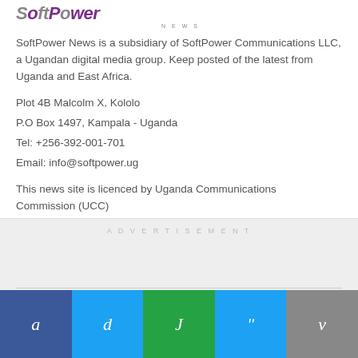[Figure (logo): SoftPower News logo with italic bold text and NEWS subtitle]
SoftPower News is a subsidiary of SoftPower Communications LLC, a Ugandan digital media group. Keep posted of the latest from Uganda and East Africa.
Plot 4B Malcolm X, Kololo
P.O Box 1497, Kampala - Uganda
Tel: +256-392-001-701
Email: info@softpower.ug
This news site is licenced by Uganda Communications Commission (UCC)
ADVERTISEMENT
[Figure (infographic): Social media share bar with five buttons: a (Facebook, dark blue), d (Twitter, light blue), J (WhatsApp, green), " (quote/Twitter, light blue), v (Vimeo, grey)]